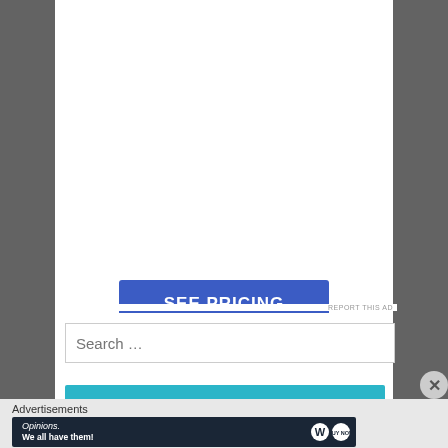[Figure (screenshot): A blue 'SEE PRICING' call-to-action button on a white background]
REPORT THIS AD
[Figure (screenshot): Search input box with placeholder text 'Search ...']
[Figure (screenshot): Partial teal/cyan button at bottom of main content area]
Advertisements
[Figure (screenshot): Advertisement banner with dark navy background reading 'Opinions. We all have them!' with WordPress and another circular logo on the right]